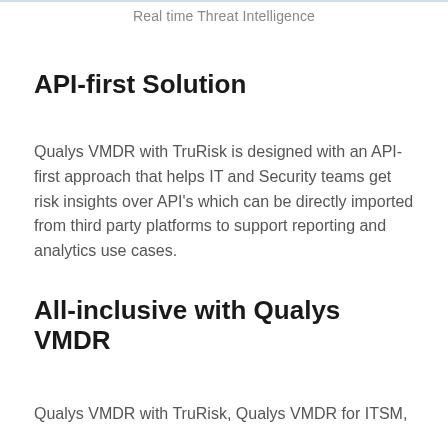Real time Threat Intelligence
API-first Solution
Qualys VMDR with TruRisk is designed with an API-first approach that helps IT and Security teams get risk insights over API’s which can be directly imported from third party platforms to support reporting and analytics use cases.
All-inclusive with Qualys VMDR
Qualys VMDR with TruRisk, Qualys VMDR for ITSM,